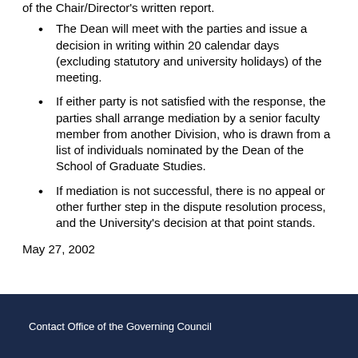of the Chair/Director's written report.
The Dean will meet with the parties and issue a decision in writing within 20 calendar days (excluding statutory and university holidays) of the meeting.
If either party is not satisfied with the response, the parties shall arrange mediation by a senior faculty member from another Division, who is drawn from a list of individuals nominated by the Dean of the School of Graduate Studies.
If mediation is not successful, there is no appeal or other further step in the dispute resolution process, and the University's decision at that point stands.
May 27, 2002
Contact Office of the Governing Council